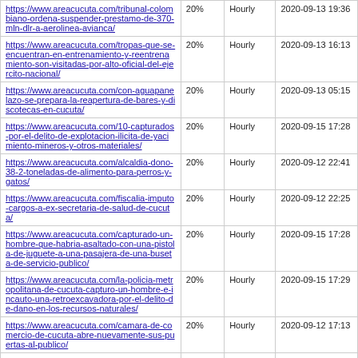| URL | Priority | Change Frequency | Last Modified |
| --- | --- | --- | --- |
| https://www.areacucuta.com/tribunal-colombiano-ordena-suspender-prestamo-de-370-mln-dlr-a-aerolinea-avianca/ | 20% | Hourly | 2020-09-13 19:36 |
| https://www.areacucuta.com/tropas-que-se-encuentran-en-entrenamiento-y-reentrenamiento-son-visitadas-por-alto-oficial-del-ejercito-nacional/ | 20% | Hourly | 2020-09-13 16:13 |
| https://www.areacucuta.com/con-aguapanelazo-se-prepara-la-reapertura-de-bares-y-discotecas-en-cucuta/ | 20% | Hourly | 2020-09-13 05:15 |
| https://www.areacucuta.com/10-capturados-por-el-delito-de-explotacion-ilicita-de-yacimiento-mineros-y-otros-materiales/ | 20% | Hourly | 2020-09-15 17:28 |
| https://www.areacucuta.com/alcaldia-dono-38-2-toneladas-de-alimento-para-perros-y-gatos/ | 20% | Hourly | 2020-09-12 22:41 |
| https://www.areacucuta.com/fiscalia-imputo-cargos-a-ex-secretaria-de-salud-de-cucuta/ | 20% | Hourly | 2020-09-12 22:25 |
| https://www.areacucuta.com/capturado-un-hombre-que-habria-asaltado-con-una-pistola-de-juguete-a-una-pasajera-de-una-buseta-de-servicio-publico/ | 20% | Hourly | 2020-09-15 17:28 |
| https://www.areacucuta.com/la-policia-metropolitana-de-cucuta-capturo-un-hombre-e-incauto-una-retroexcavadora-por-el-delito-de-dano-en-los-recursos-naturales/ | 20% | Hourly | 2020-09-15 17:29 |
| https://www.areacucuta.com/camara-de-comercio-de-cucuta-abre-nuevamente-sus-puertas-al-publico/ | 20% | Hourly | 2020-09-12 17:13 |
| https://www.areacucuta.com/en-el-municipio-de-el-zulia-fueron-incautados-17-mil-gramos-de-clorhidrato-de-cocaina-que-estaban-ocultos-en-la-cojineria-de-los-asientos-traseros-de-un-vehiculo/ | 20% | Hourly | 2020-09-15 17:29 |
| https://www.areacucuta.com/secretaria-de- |  |  |  |